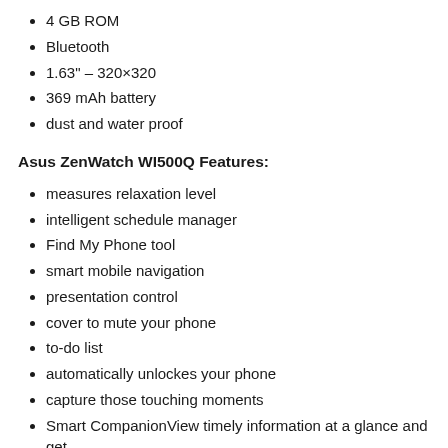4 GB ROM
Bluetooth
1.63" – 320×320
369 mAh battery
dust and water proof
Asus ZenWatch WI500Q Features:
measures relaxation level
intelligent schedule manager
Find My Phone tool
smart mobile navigation
presentation control
cover to mute your phone
to-do list
automatically unlockes your phone
capture those touching moments
Smart CompanionView timely information at a glance and get